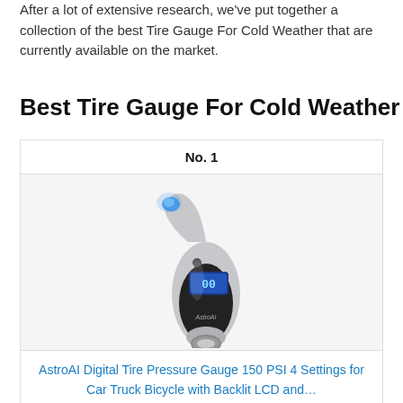After a lot of extensive research, we've put together a collection of the best Tire Gauge For Cold Weather that are currently available on the market.
Best Tire Gauge For Cold Weather
No. 1
[Figure (photo): AstroAI Digital Tire Pressure Gauge - silver and black handheld device with blue LED light and LCD screen]
AstroAI Digital Tire Pressure Gauge 150 PSI 4 Settings for Car Truck Bicycle with Backlit LCD and…